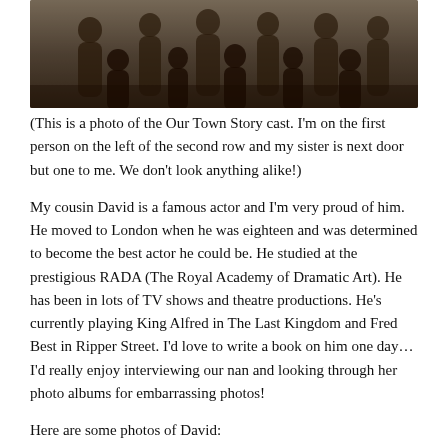[Figure (photo): Black and white group photo of the Our Town Story cast, showing multiple children/young people posed together in rows, partially cropped at top]
(This is a photo of the Our Town Story cast. I'm on the first person on the left of the second row and my sister is next door but one to me. We don't look anything alike!)
My cousin David is a famous actor and I'm very proud of him. He moved to London when he was eighteen and was determined to become the best actor he could be. He studied at the prestigious RADA (The Royal Academy of Dramatic Art). He has been in lots of TV shows and theatre productions. He's currently playing King Alfred in The Last Kingdom and Fred Best in Ripper Street. I'd love to write a book on him one day… I'd really enjoy interviewing our nan and looking through her photo albums for embarrassing photos!
Here are some photos of David: